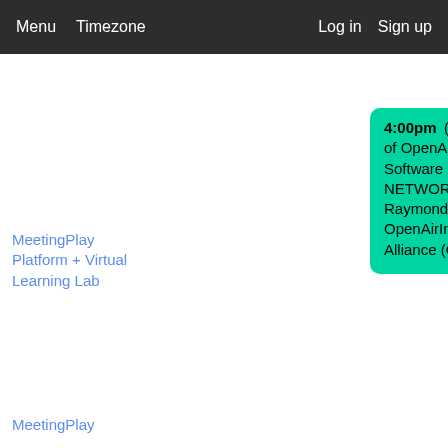Menu  Timezone  Log in  Sign up
4:00pm  (VIRTUAL) An Assault of OpenAirInterface's Open Software in 5G RAN, CORE NETWORK and MOSAIC5G - Raymond Knop, OpenAirInterface Software Alliance (OSA)
MeetingPlay Platform + Virtual Learning Lab
4:00pm • (VIRTUAL) Tutorial: Istio Service Mesh Get Started Workshop - Lin Sun, Solo.io
MeetingPlay